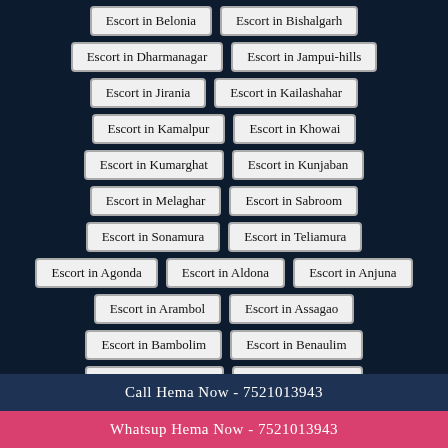Escort in Belonia
Escort in Bishalgarh
Escort in Dharmanagar
Escort in Jampui-hills
Escort in Jirania
Escort in Kailashahar
Escort in Kamalpur
Escort in Khowai
Escort in Kumarghat
Escort in Kunjaban
Escort in Melaghar
Escort in Sabroom
Escort in Sonamura
Escort in Teliamura
Escort in Agonda
Escort in Aldona
Escort in Anjuna
Escort in Arambol
Escort in Assagao
Escort in Bambolim
Escort in Benaulim
Escort in Betalbatim
Escort in Bicholim
Escort in Calangute
Escort in Candolim
Escort in Cavelossim
Escort in Colva
Call Hema Now - 7521013943
Whatsup Hema Now - 7521013943